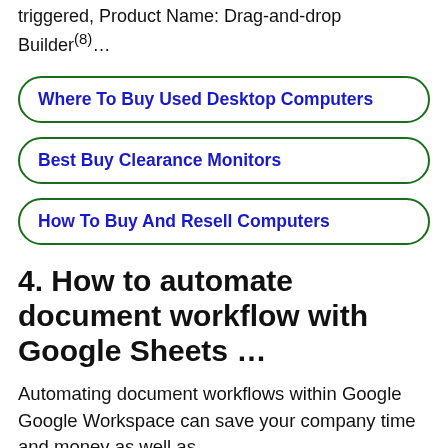triggered, Product Name: Drag-and-drop Builder(8)…
Where To Buy Used Desktop Computers
Best Buy Clearance Monitors
How To Buy And Resell Computers
4. How to automate document workflow with Google Sheets …
Automating document workflows within Google Google Workspace can save your company time and money as well as